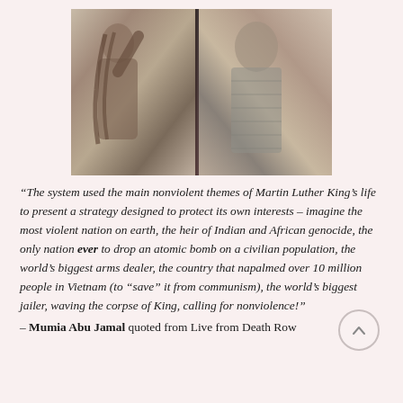[Figure (photo): Black and white / sepia composite photograph showing two men side by side. Left: a man with dreadlocks raising his arm. Right: a man in a striped or textured jacket with a slight side profile.]
“The system used the main nonviolent themes of Martin Luther King’s life to present a strategy designed to protect its own interests – imagine the most violent nation on earth, the heir of Indian and African genocide, the only nation ever to drop an atomic bomb on a civilian population, the world’s biggest arms dealer, the country that napalmed over 10 million people in Vietnam (to “save” it from communism), the world’s biggest jailer, waving the corpse of King, calling for nonviolence!”
– Mumia Abu Jamal quoted from Live from Death Row